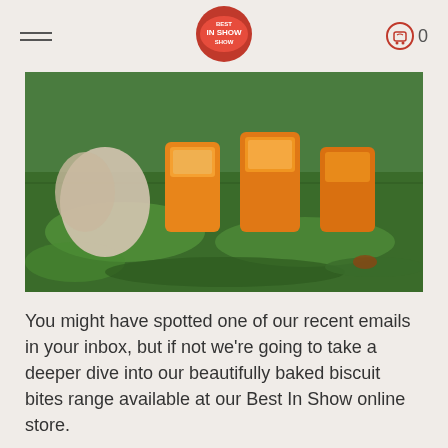Best In Show [logo] 0
[Figure (photo): Photo of dog biscuit treat containers with orange labels sitting on green grass, with a dog partially visible in the background]
You might have spotted one of our recent emails in your inbox, but if not we're going to take a deeper dive into our beautifully baked biscuit bites range available at our Best In Show online store.
We all know we like to get more value out of everything we do. Diet is no exception.
Each flavour of our delicious baked biscuit bites comes with its' own set of unique perks and benefits to boost your Best In Show Pet's life.